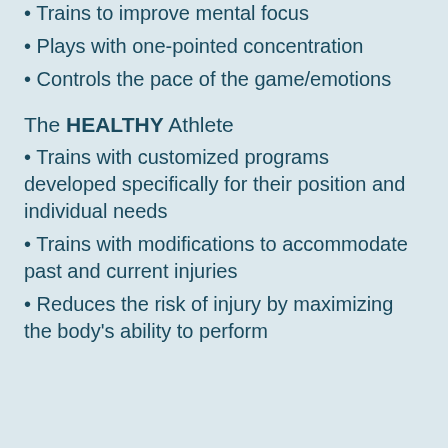Trains to improve mental focus
Plays with one-pointed concentration
Controls the pace of the game/emotions
The HEALTHY Athlete
Trains with customized programs developed specifically for their position and individual needs
Trains with modifications to accommodate past and current injuries
Reduces the risk of injury by maximizing the body's ability to perform
Assessment
$80
One-on-one Human Perf...